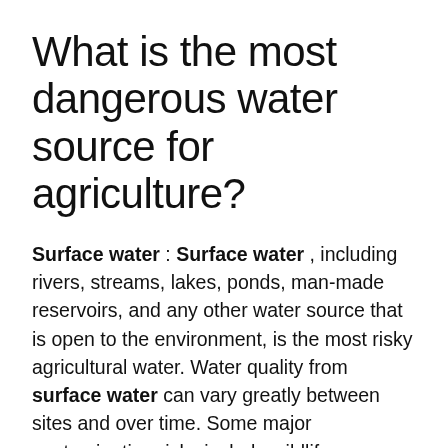What is the most dangerous water source for agriculture?
Surface water : Surface water , including rivers, streams, lakes, ponds, man-made reservoirs, and any other water source that is open to the environment, is the most risky agricultural water. Water quality from surface water can vary greatly between sites and over time. Some major contamination risks include wildlife, ...